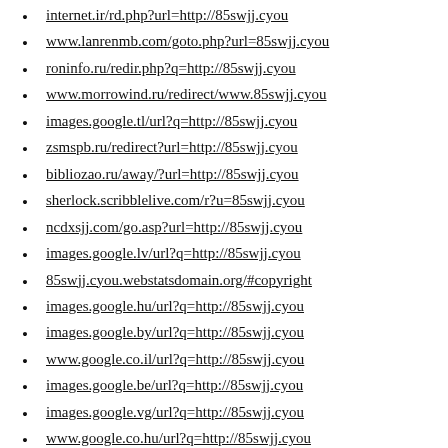internet.ir/rd.php?url=http://85swjj.cyou
www.lanrenmb.com/goto.php?url=85swjj.cyou
roninfo.ru/redir.php?q=http://85swjj.cyou
www.morrowind.ru/redirect/www.85swjj.cyou
images.google.tl/url?q=http://85swjj.cyou
zsmspb.ru/redirect?url=http://85swjj.cyou
bibliozao.ru/away/?url=http://85swjj.cyou
sherlock.scribblelive.com/r?u=85swjj.cyou
ncdxsjj.com/go.asp?url=http://85swjj.cyou
images.google.lv/url?q=http://85swjj.cyou
85swjj.cyou.webstatsdomain.org/#copyright
images.google.hu/url?q=http://85swjj.cyou
images.google.by/url?q=http://85swjj.cyou
www.google.co.il/url?q=http://85swjj.cyou
images.google.be/url?q=http://85swjj.cyou
images.google.vg/url?q=http://85swjj.cyou
www.google.co.hu/url?q=http://85swjj.cyou
images.google.td/url?q=http://85swjj.cyou
images.google.dm/url?q=http://85swjj.cyou